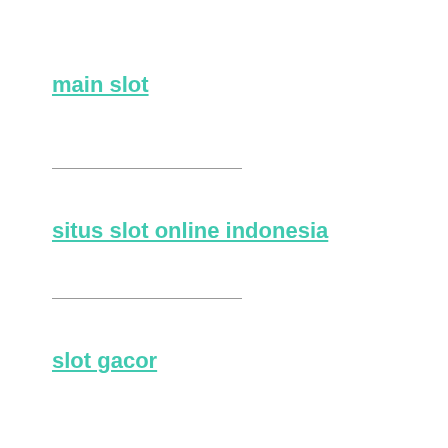main slot
situs slot online indonesia
slot gacor
777slot
rtp slot